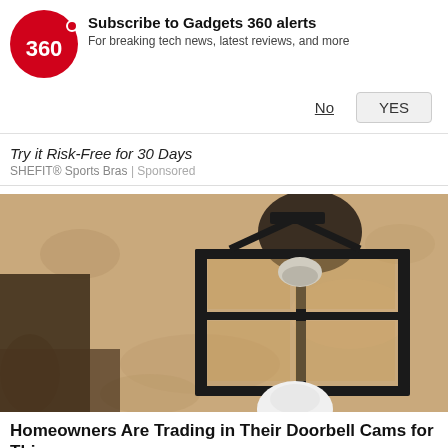[Figure (logo): Gadgets 360 red circle logo with '360' text in white]
Subscribe to Gadgets 360 alerts
For breaking tech news, latest reviews, and more
No   YES
Try it Risk-Free for 30 Days
SHEFIT® Sports Bras | Sponsored
[Figure (photo): Close-up photo of a black outdoor wall lantern/sconce mounted on a textured stucco wall, with a white bulb visible at the bottom]
Homeowners Are Trading in Their Doorbell Cams for This...